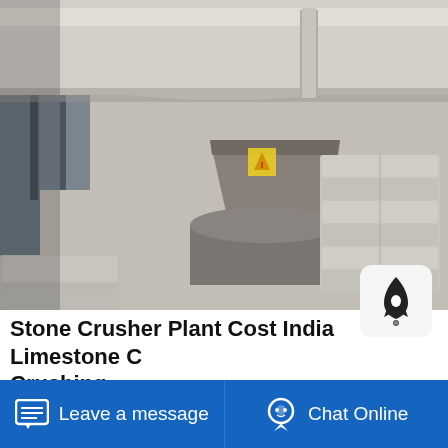[Figure (photo): Industrial stone crushing plant interior showing large cylindrical pipe/conveyor overhead, stacked grey sacks of material on right, stone blocks and machinery in center, dusty warehouse environment]
Stone Crusher Plant Cost India Limestone C Crushing ...
50tph Mobile/ Station Stone Crusher/ Fine /Large/ Capacity Stone/Rock/Ore/Sand Making/Sand Maker/Combine/Compac Jaw Crusher for Quarry/Mining Crushing Machine FOB Price: US $70,000-100,000 / Set Min. Order:1 Set
Leave a message   Chat Online